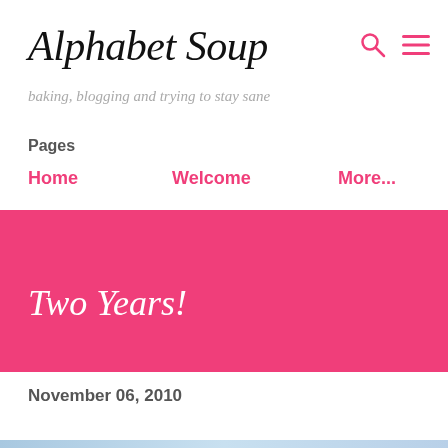Alphabet Soup
baking, blogging and trying to stay sane
Pages
Home
Welcome
More...
Two Years!
November 06, 2010